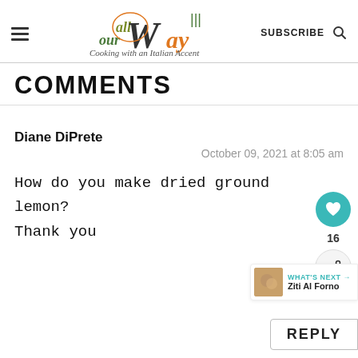all our Way — Cooking with an Italian Accent | SUBSCRIBE | Search
COMMENTS
Diane DiPrete
October 09, 2021 at 8:05 am
How do you make dried ground lemon?
Thank you